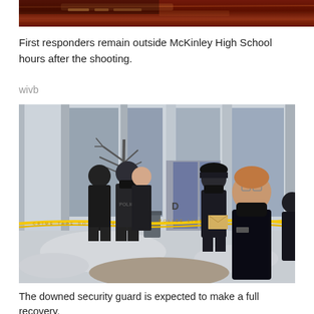[Figure (photo): Top portion of a photo showing first responders outside McKinley High School after a shooting, dark reddish scene visible at top]
First responders remain outside McKinley High School hours after the shooting.
wivb
[Figure (photo): Police officers and first responders standing outside McKinley High School behind yellow crime scene tape in winter, snow visible on the ground, glass facade building in background]
The downed security guard is expected to make a full recovery.